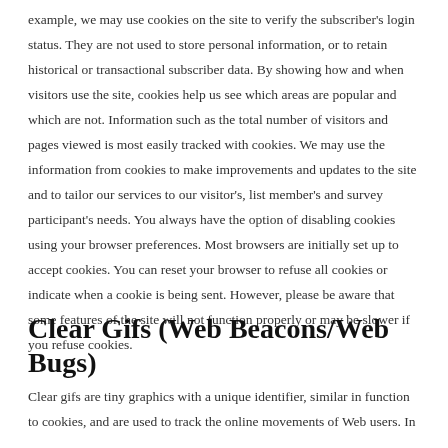example, we may use cookies on the site to verify the subscriber's login status. They are not used to store personal information, or to retain historical or transactional subscriber data. By showing how and when visitors use the site, cookies help us see which areas are popular and which are not. Information such as the total number of visitors and pages viewed is most easily tracked with cookies. We may use the information from cookies to make improvements and updates to the site and to tailor our services to our visitor's, list member's and survey participant's needs. You always have the option of disabling cookies using your browser preferences. Most browsers are initially set up to accept cookies. You can reset your browser to refuse all cookies or indicate when a cookie is being sent. However, please be aware that some features of the site will not function properly or may be slower if you refuse cookies.
Clear Gifs (Web Beacons/Web Bugs)
Clear gifs are tiny graphics with a unique identifier, similar in function to cookies, and are used to track the online movements of Web users. In